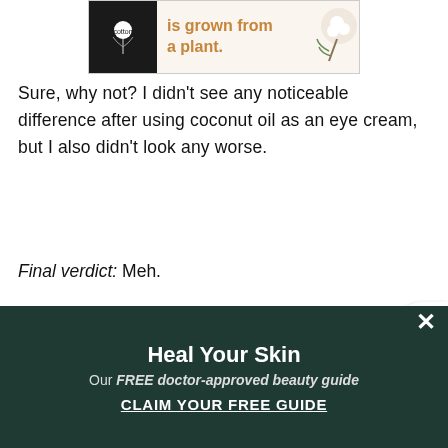[Figure (other): Cotton brand advertisement banner with black logo area showing cotton logo and text 'is grown from a plant.' in orange/tan color, with cotton flower image on right side]
Sure, why not? I didn't see any noticeable difference after using coconut oil as an eye cream, but I also didn't look any worse.
Final verdict: Meh.
11. Body scrub
This one takes a little more DIY effort since you have to mix up a scrub, but it's worth it. I used this recipe, but you could even opt for something as simple as
[Figure (other): Dark green popup banner with title 'Heal Your Skin', subtitle 'Our FREE doctor-approved beauty guide', and CTA button 'CLAIM YOUR FREE GUIDE' with X close button]